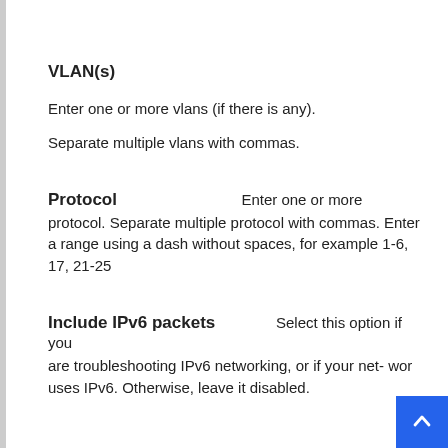VLAN(s)
Enter one or more vlans (if there is any).
Separate multiple vlans with commas.
Protocol
Enter one or more protocol. Separate multiple protocol with commas. Enter a range using a dash without spaces, for example 1-6, 17, 21-25
Include IPv6 packets
Select this option if you are troubleshooting IPv6 networking, or if your net- work uses IPv6. Otherwise, leave it disabled.